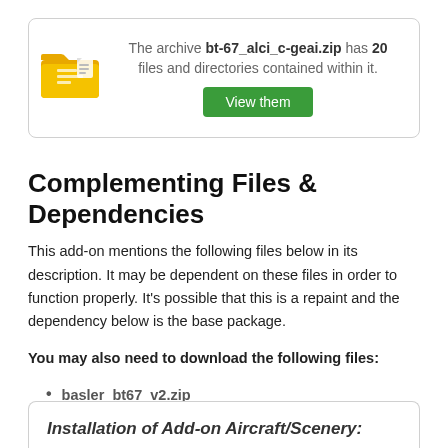The archive bt-67_alci_c-geai.zip has 20 files and directories contained within it. View them
Complementing Files & Dependencies
This add-on mentions the following files below in its description. It may be dependent on these files in order to function properly. It's possible that this is a repaint and the dependency below is the base package.
You may also need to download the following files:
basler_bt67_v2.zip
Installation of Add-on Aircraft/Scenery: